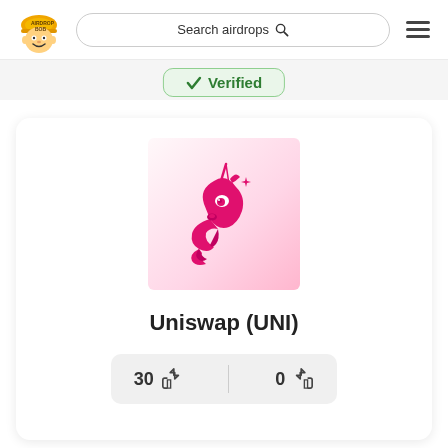[Figure (logo): Airdrop Bob logo - cartoon boy with construction hat]
Search airdrops🔍
[Figure (illustration): Hamburger menu icon (three horizontal lines)]
✓ Verified
[Figure (logo): Uniswap unicorn logo - pink unicorn head on pink gradient background]
Uniswap (UNI)
30 👍   0 👎